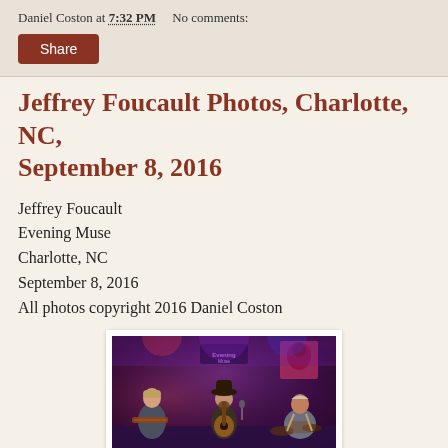Daniel Coston at 7:32 PM   No comments:
Share
Jeffrey Foucault Photos, Charlotte, NC, September 8, 2016
Jeffrey Foucault
Evening Muse
Charlotte, NC
September 8, 2016
All photos copyright 2016 Daniel Coston
[Figure (photo): Three musicians performing on stage at Evening Muse venue in Charlotte, NC. Purple and red stage lighting, brick wall background with Evening Muse sign. Left musician at keyboard/lap steel, center musician with hat playing guitar at microphone, right musician at drum kit.]